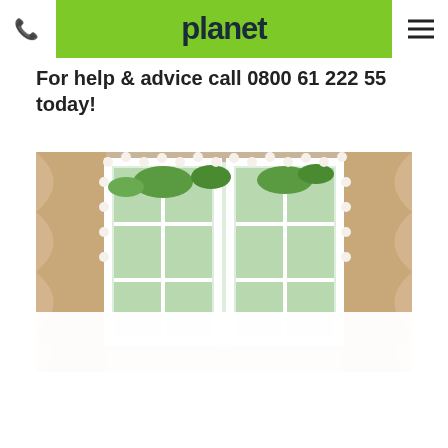planet
For help & advice call 0800 61 222 55 today!
[Figure (photo): Interior view of white uPVC double windows with lead-effect grilles, decorated with cream curtains trimmed with pompom ribbon, green ivy visible outside]
We use cookies to give you the best experience on our website and to make sure the ads you see on other sites are relevant. By continuing, you agree to our use of cookies. Find out more here.
ACCEPT